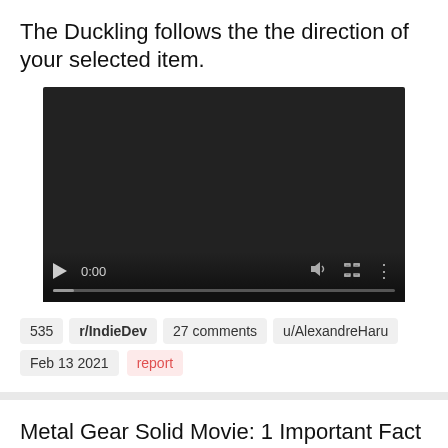The Duckling follows the the direction of your selected item.
[Figure (screenshot): Embedded video player showing 0:00 timestamp with play button, volume, fullscreen, and more controls. Dark themed player.]
535  r/IndieDev  27 comments  u/AlexandreHaru
Feb 13 2021  report
Metal Gear Solid Movie: 1 Important Fact | We approve of the direction
[Figure (screenshot): Partially visible dark video player thumbnail at the bottom of the page.]